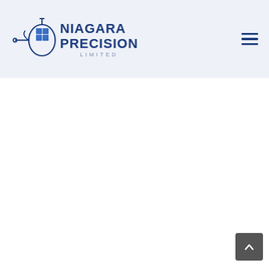[Figure (logo): Niagara Precision Limited company logo with stylized test tube/flask graphic and company name in bold dark blue text with 'LIMITED' in lighter smaller text below]
[Figure (other): Hamburger menu icon (three horizontal lines) in dark blue, top right of header]
[Figure (other): Dashed horizontal divider line separating header from content area]
[Figure (other): Scroll-to-top button, dark grey rounded rectangle with white upward chevron arrow, bottom right corner]